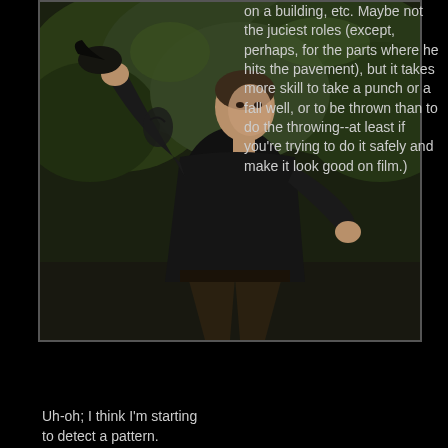[Figure (photo): A muscular man in a black t-shirt and dark pants standing outdoors with trees in the background, appearing to be in a martial arts or stunt pose with his arm raised.]
on a building, etc. Maybe not the juciest roles (except, perhaps, for the parts where he hits the pavement), but it takes more skill to take a punch or a fall well, or to be thrown than to do the throwing--at least if you're trying to do it safely and make it look good on film.)
Uh-oh; I think I'm starting to detect a pattern.